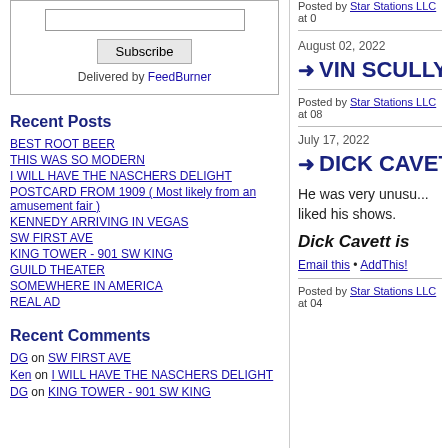Subscribe / Delivered by FeedBurner
Recent Posts
BEST ROOT BEER
THIS WAS SO MODERN
I WILL HAVE THE NASCHERS DELIGHT
POSTCARD FROM 1909 ( Most likely from an amusement fair )
KENNEDY ARRIVING IN VEGAS
SW FIRST AVE
KING TOWER - 901 SW KING
GUILD THEATER
SOMEWHERE IN AMERICA
REAL AD
Recent Comments
DG on SW FIRST AVE
Ken on I WILL HAVE THE NASCHERS DELIGHT
DG on KING TOWER - 901 SW KING
Posted by Star Stations LLC at 0...
August 02, 2022
→ VIN SCULLY IS D...
Posted by Star Stations LLC at 08...
July 17, 2022
→ DICK CAVETT
He was very unusu... liked his shows.
Dick Cavett is...
Email this • AddThis!
Posted by Star Stations LLC at 04...